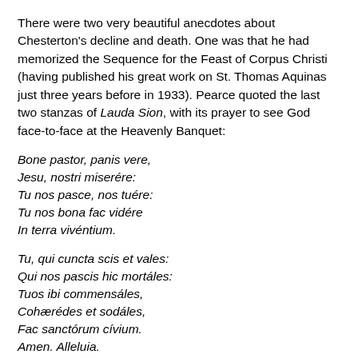There were two very beautiful anecdotes about Chesterton's decline and death. One was that he had memorized the Sequence for the Feast of Corpus Christi (having published his great work on St. Thomas Aquinas just three years before in 1933). Pearce quoted the last two stanzas of Lauda Sion, with its prayer to see God face-to-face at the Heavenly Banquet:
Bone pastor, panis vere,
Jesu, nostri miserére:
Tu nos pasce, nos tuére:
Tu nos bona fac vidére
In terra vivéntium.
Tu, qui cuncta scis et vales:
Qui nos pascis hic mortáles:
Tuos ibi commensáles,
Cohærédes et sodáles,
Fac sanctórum cívium.
Amen. Alleluia.
He also cited the last words of Verbum supernum prodiens